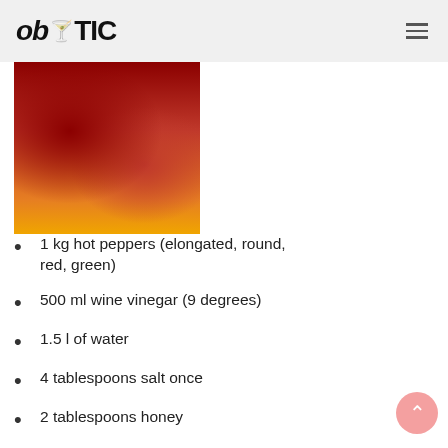ob TIC
[Figure (photo): Photo of red hot peppers, elongated and round varieties, clustered together with yellow/orange background elements]
1 kg hot peppers (elongated, round, red, green)
500 ml wine vinegar (9 degrees)
1.5 l of water
4 tablespoons salt once
2 tablespoons honey
100 g yellow raisins (optional)
1 tablespoon peppercorns